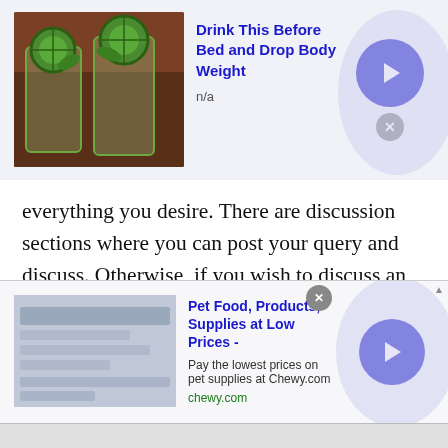[Figure (screenshot): Top advertisement banner: image of cucumber water glasses on left, bold blue title 'Drink This Before Bed and Drop Body Weight', subtitle 'n/a', blue arrow button and grey X close button on right]
everything you desire. There are discussion sections where you can post your query and discuss. Otherwise, if you wish to discuss an issue that you believe pertains to a certain nationality then you can choose that option as well. Say for instance you want to discuss the eradication of child labor with Taiwanese people. Then you can chat with people of Taiwan in this regard. You can also video chat with random people of Taiwan to better understand the concept of child labor. The video calling facility will
[Figure (screenshot): Bottom advertisement banner: placeholder image on left, bold blue title 'Pet Food, Products, Supplies at Low Prices -', subtitle 'Pay the lowest prices on pet supplies at Chewy.com', green URL 'chewy.com', blue arrow button and grey X close button on right]